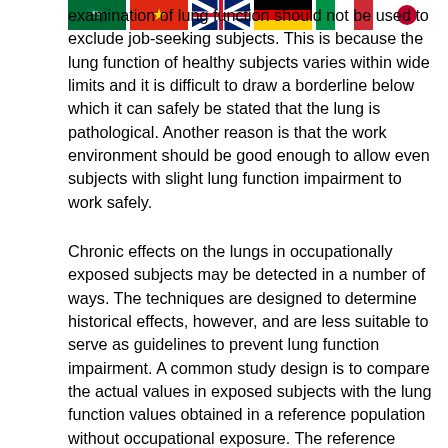[Figure (illustration): A row of national flags: Saudi Arabia, China, UK, Germany, Italy, Japan, Portugal, Russia, Serbia, Spain, Kenya — partially visible at the top of the page]
examination of lung function should not be used to exclude job-seeking subjects. This is because the lung function of healthy subjects varies within wide limits and it is difficult to draw a borderline below which it can safely be stated that the lung is pathological. Another reason is that the work environment should be good enough to allow even subjects with slight lung function impairment to work safely.
Chronic effects on the lungs in occupationally exposed subjects may be detected in a number of ways. The techniques are designed to determine historical effects, however, and are less suitable to serve as guidelines to prevent lung function impairment. A common study design is to compare the actual values in exposed subjects with the lung function values obtained in a reference population without occupational exposure. The reference subjects may be recruited from the same (or nearby) workplaces or from the same city.